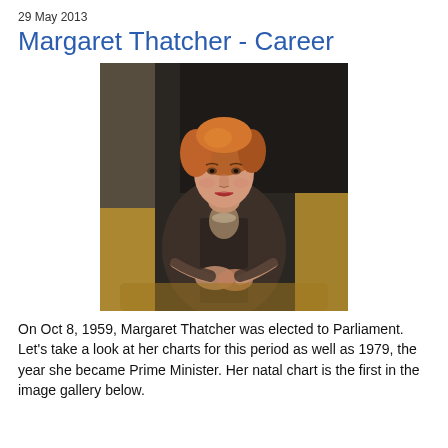29 May 2013
Margaret Thatcher - Career
[Figure (photo): Painted portrait of Margaret Thatcher seated on a sofa, wearing a dark jacket with a light blouse, auburn hair, hands clasped in lap, against a dark background.]
On Oct 8, 1959, Margaret Thatcher was elected to Parliament.  Let's take a look at her charts for this period as well as 1979, the year she became Prime Minister.  Her natal chart is the first in the image gallery below.